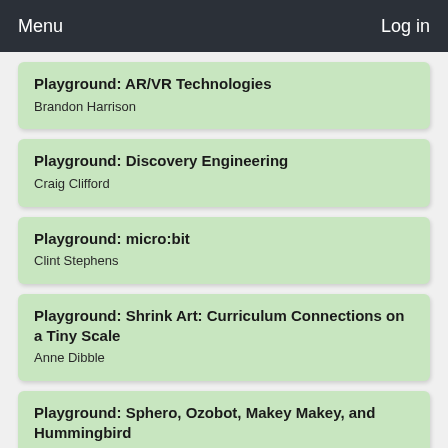Menu  Log in
Playground: AR/VR Technologies
Brandon Harrison
Playground: Discovery Engineering
Craig Clifford
Playground: micro:bit
Clint Stephens
Playground: Shrink Art: Curriculum Connections on a Tiny Scale
Anne Dibble
Playground: Sphero, Ozobot, Makey Makey, and Hummingbird
Nathan Wilson • Theresa Wilson